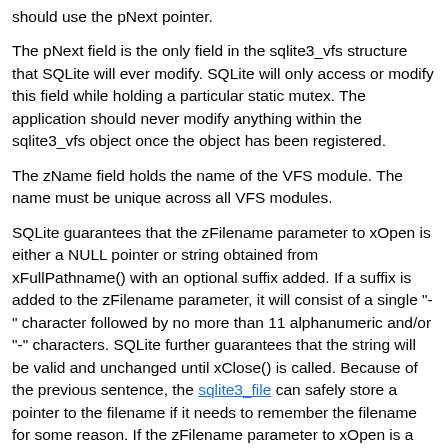should use the pNext pointer.
The pNext field is the only field in the sqlite3_vfs structure that SQLite will ever modify. SQLite will only access or modify this field while holding a particular static mutex. The application should never modify anything within the sqlite3_vfs object once the object has been registered.
The zName field holds the name of the VFS module. The name must be unique across all VFS modules.
SQLite guarantees that the zFilename parameter to xOpen is either a NULL pointer or string obtained from xFullPathname() with an optional suffix added. If a suffix is added to the zFilename parameter, it will consist of a single "-" character followed by no more than 11 alphanumeric and/or "-" characters. SQLite further guarantees that the string will be valid and unchanged until xClose() is called. Because of the previous sentence, the sqlite3_file can safely store a pointer to the filename if it needs to remember the filename for some reason. If the zFilename parameter to xOpen is a NULL pointer then xOpen must invent its own temporary name for the file. Whenever the xFilename parameter is NULL it will also be the case that the flags parameter will include SQLITE_OPEN_DELETEONCLOSE.